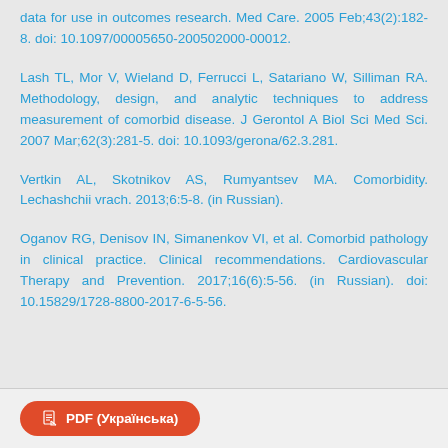data for use in outcomes research. Med Care. 2005 Feb;43(2):182-8. doi: 10.1097/00005650-200502000-00012.
Lash TL, Mor V, Wieland D, Ferrucci L, Satariano W, Silliman RA. Methodology, design, and analytic techniques to address measurement of comorbid disease. J Gerontol A Biol Sci Med Sci. 2007 Mar;62(3):281-5. doi: 10.1093/gerona/62.3.281.
Vertkin AL, Skotnikov AS, Rumyantsev MA. Comorbidity. Lechashchii vrach. 2013;6:5-8. (in Russian).
Oganov RG, Denisov IN, Simanenkov VI, et al. Comorbid pathology in clinical practice. Clinical recommendations. Cardiovascular Therapy and Prevention. 2017;16(6):5-56. (in Russian). doi: 10.15829/1728-8800-2017-6-5-56.
PDF (Українська)